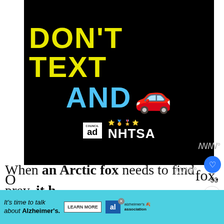[Figure (infographic): Black background ad showing 'DON'T TEXT AND' in yellow and cyan bold letters with a red car emoji, and Ad Council / NHTSA logos at bottom]
When an Arctic fox needs to find prey, it has to rely on its senses. Using its nose and ears, it will lurk along the ground until a scent is picked up until it hears a rodent under...
[Figure (infographic): WHAT'S NEXT arrow label with owl thumbnail and text: Here's What Owls Eat...]
[Figure (infographic): Bottom advertisement banner: It's time to talk about Alzheimer's. Learn More. Alzheimer's Association logo.]